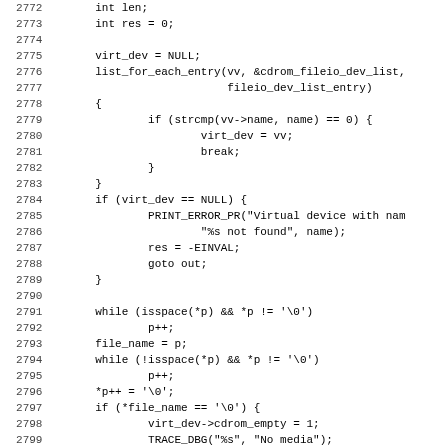[Figure (other): Source code listing in C, lines 2772-2803, showing virtual device lookup and file path handling logic]